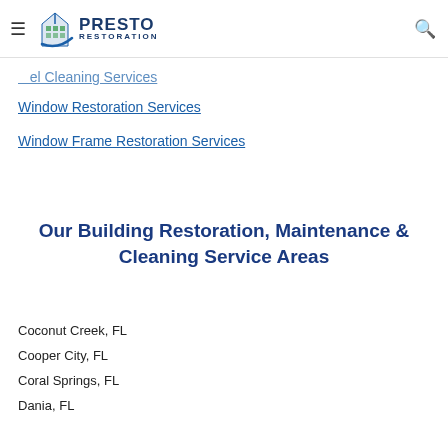Presto Restoration
Window Restoration Services
Window Frame Restoration Services
Our Building Restoration, Maintenance & Cleaning Service Areas
Coconut Creek, FL
Cooper City, FL
Coral Springs, FL
Dania, FL